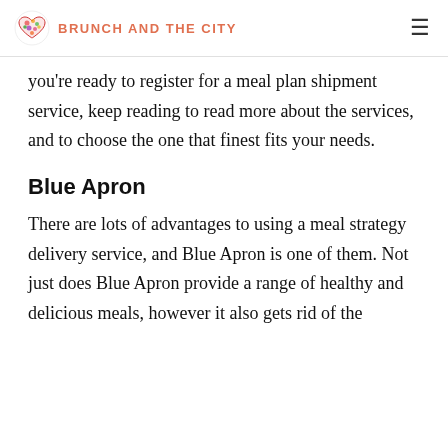BRUNCH AND THE CITY
you're ready to register for a meal plan shipment service, keep reading to read more about the services, and to choose the one that finest fits your needs.
Blue Apron
There are lots of advantages to using a meal strategy delivery service, and Blue Apron is one of them. Not just does Blue Apron provide a range of healthy and delicious meals, however it also gets rid of the